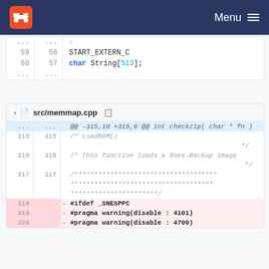Menu
Code diff block 1: lines 59-60, START_EXTERN_C, char String[513];
src/memmap.cpp
@@ -315,10 +315,6 @@ int checkzip( char * fn  )
315 315 /* LoadROM() */
316 316 /* This function loads a Snes-Backup image */
317 317 /****************************************************/
318 - #ifdef _SNESPPC
319 - #pragma warning(disable : 4101)
320 - #pragma warning(disable : 4700)